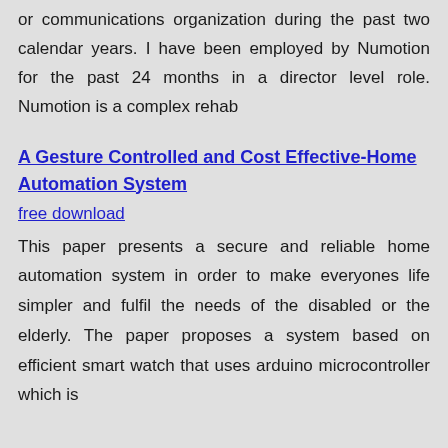or communications organization during the past two calendar years. I have been employed by Numotion for the past 24 months in a director level role. Numotion is a complex rehab
A Gesture Controlled and Cost Effective-Home Automation System
free download
This paper presents a secure and reliable home automation system in order to make everyones life simpler and fulfil the needs of the disabled or the elderly. The paper proposes a system based on efficient smart watch that uses arduino microcontroller which is